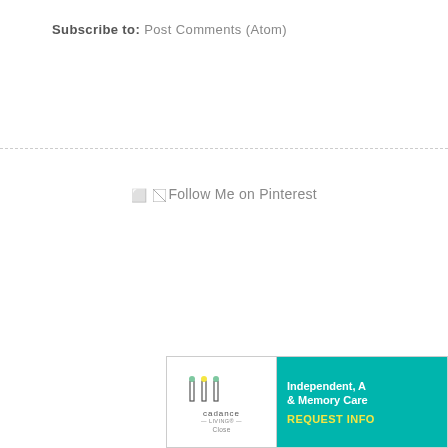Subscribe to: Post Comments (Atom)
[Figure (other): Broken image placeholder with text 'Follow Me on Pinterest']
[Figure (other): Advertisement banner for Cadence Living showing logo on left and teal background on right with text 'Independent, A & Memory Care' and 'REQUEST INFO']